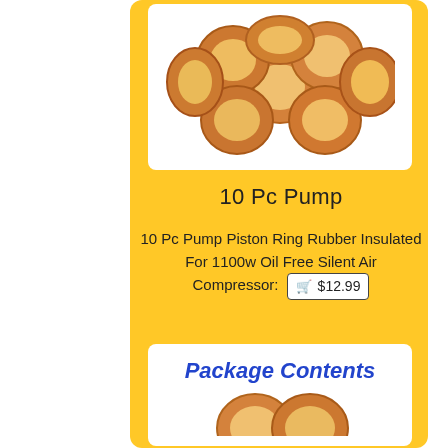[Figure (photo): Pile of copper/orange rubber piston rings on white background]
10 Pc Pump
10 Pc Pump Piston Ring Rubber Insulated For 1100w Oil Free Silent Air Compressor: $12.99
[Figure (photo): Package Contents section with orange rubber rings shown below heading]
Package Contents